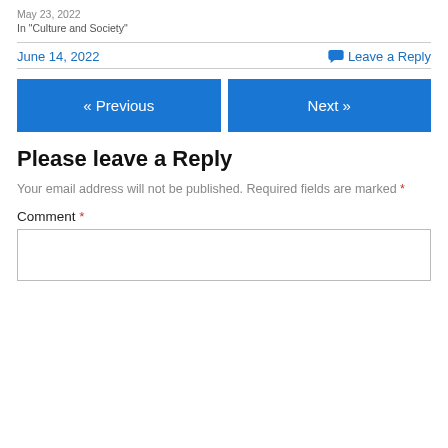May 23, 2022
In "Culture and Society"
June 14, 2022
💬 Leave a Reply
« Previous
Next »
Please leave a Reply
Your email address will not be published. Required fields are marked *
Comment *